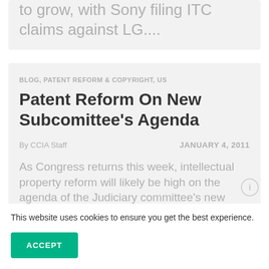to grow, with Sony filing ITC claims against LG....
BLOG, PATENT REFORM & COPYRIGHT, US
Patent Reform On New Subcomittee's Agenda
By CCIA Staff   JANUARY 4, 2011
As Congress returns this week, intellectual property reform will likely be high on the agenda of the Judiciary committee's new
This website uses cookies to ensure you get the best experience.
ACCEPT